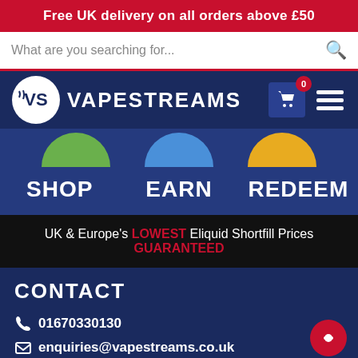Free UK delivery on all orders above £50
What are you searching for...
[Figure (logo): VapeStreams logo with VS emblem and brand name, cart icon with 0 badge, hamburger menu]
[Figure (infographic): Three colored semicircles (green, blue, yellow) with labels SHOP, EARN, REDEEM]
UK & Europe's LOWEST Eliquid Shortfill Prices GUARANTEED
CONTACT
01670330130
enquiries@vapestreams.co.uk